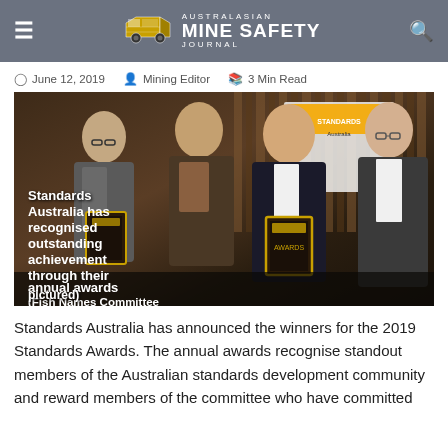Australasian Mine Safety Journal
June 12, 2019  Mining Editor  3 Min Read
[Figure (photo): Three men in suits standing and holding award plaques at a Standards Australia annual awards ceremony. A Standards Australia backdrop is visible behind them. Text overlay reads: Standards Australia has recognised outstanding achievement through their annual awards (Fish Names Committee pictured)]
Standards Australia has announced the winners for the 2019 Standards Awards. The annual awards recognise standout members of the Australian standards development community and reward members of the committee who have committed